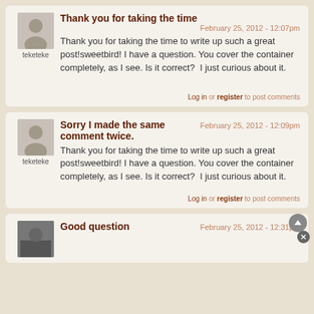Thank you for taking the time  February 25, 2012 - 12:07pm
thank you for taking the time to write up such a great post!sweetbird! I have a question. You cover the container completely, as I see. Is it correct?  I just curious about it.
Log in or register to post comments
Sorry I made the same comment twice.  February 25, 2012 - 12:09pm
Thank you for taking the time to write up such a great post!sweetbird! I have a question. You cover the container completely, as I see. Is it correct?  I just curious about it.
Log in or register to post comments
Good question  February 25, 2012 - 12:31pm